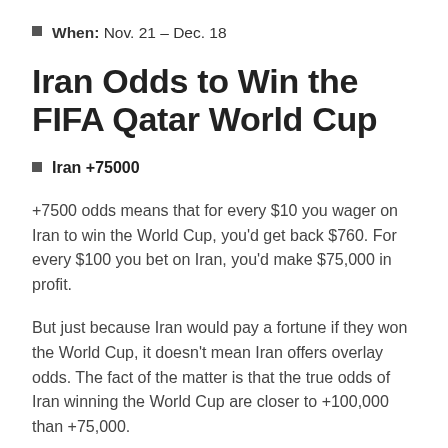When: Nov. 21 – Dec. 18
Iran Odds to Win the FIFA Qatar World Cup
Iran +75000
+7500 odds means that for every $10 you wager on Iran to win the World Cup, you'd get back $760. For every $100 you bet on Iran, you'd make $75,000 in profit.
But just because Iran would pay a fortune if they won the World Cup, it doesn't mean Iran offers overlay odds. The fact of the matter is that the true odds of Iran winning the World Cup are closer to +100,000 than +75,000.